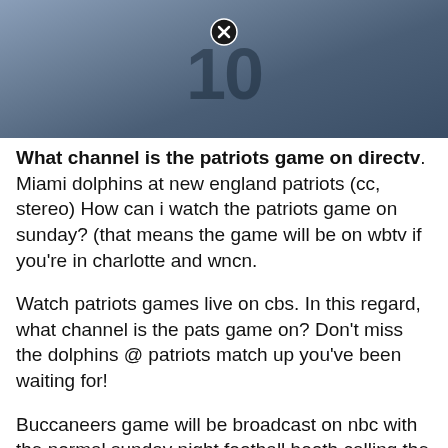[Figure (photo): Football player wearing jersey number 10, cropped showing torso/shoulders area with a close button overlay]
What channel is the patriots game on directv. Miami dolphins at new england patriots (cc, stereo) How can i watch the patriots game on sunday? (that means the game will be on wbtv if you're in charlotte and wncn.
Watch patriots games live on cbs. In this regard, what channel is the pats game on? Don't miss the dolphins @ patriots match up you've been waiting for!
Buccaneers game will be broadcast on nbc with the normal sunday night football booth calling the game. Watch patriots games live